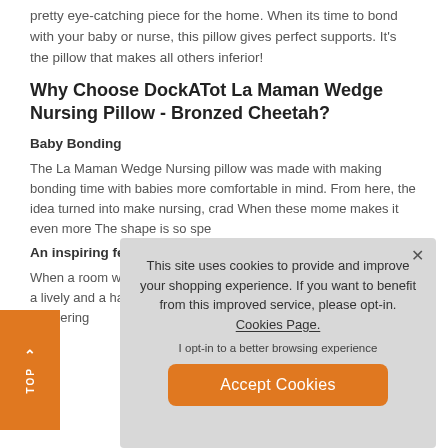pretty eye-catching piece for the home. When its time to bond with your baby or nurse, this pillow gives perfect supports. It's the pillow that makes all others inferior!
Why Choose DockATot La Maman Wedge Nursing Pillow - Bronzed Cheetah?
Baby Bonding
The La Maman Wedge Nursing pillow was made with making bonding time with babies more comfortable in mind. From here, the idea turned into make nursing, crad When these mome makes it even more The shape is so spe
An inspiring featu
When a room withi the La Maman Wec wild design which m brings a lively and a has been made about which room this pillow belongs it, layering
This site uses cookies to provide and improve your shopping experience. If you want to benefit from this improved service, please opt-in. Cookies Page.
I opt-in to a better browsing experience
Accept Cookies